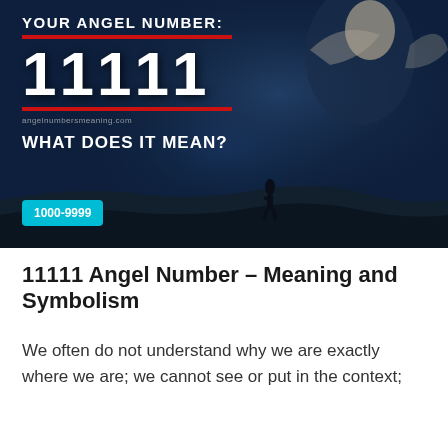[Figure (illustration): Dark blue atmospheric banner image with an angel statue in the top right, a lone human silhouette at the bottom center on rocky ground. Overlaid text reads: YOUR ANGEL NUMBER: [red line] 11111 [red line] angelnumbersmeaning.com WHAT DOES IT MEAN? A cyan badge reads 1000-9999.]
11111 Angel Number – Meaning and Symbolism
We often do not understand why we are exactly where we are; we cannot see or put in the context;